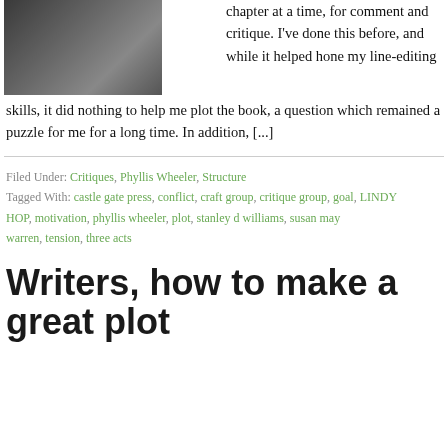[Figure (photo): Black and white photo of a person sitting in a chair, partial view]
chapter at a time, for comment and critique. I've done this before, and while it helped hone my line-editing skills, it did nothing to help me plot the book, a question which remained a puzzle for me for a long time. In addition, [...]
Filed Under: Critiques, Phyllis Wheeler, Structure
Tagged With: castle gate press, conflict, craft group, critique group, goal, LINDY HOP, motivation, phyllis wheeler, plot, stanley d williams, susan may warren, tension, three acts
Writers, how to make a great plot